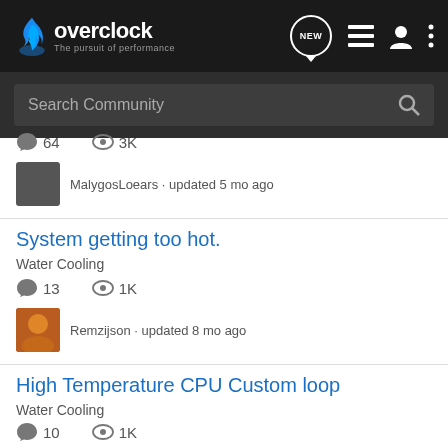[Figure (screenshot): Overclock.net website header with logo, NEW bubble, list icon, user icon, and vertical dots menu]
[Figure (screenshot): Search Community search bar with magnifying glass icon]
64  3K
MalygosLoears · updated 5 mo ago
System getting too hot.
Water Cooling
13  1K
Remzijson · updated 8 mo ago
High Temperature CPU Custom loop
Water Cooling
10  1K